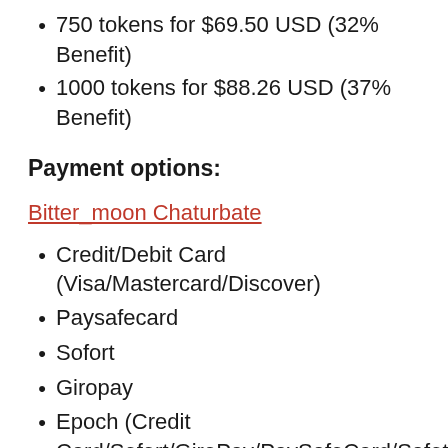750 tokens for $69.50 USD (32% Benefit)
1000 tokens for $88.26 USD (37% Benefit)
Payment options:
Bitter_moon Chaturbate
Credit/Debit Card (Visa/Mastercard/Discover)
Paysafecard
Sofort
Giropay
Epoch (Credit Card/Sofort/GiroPay/PaySafeCard/SafetyPay)
PayPal